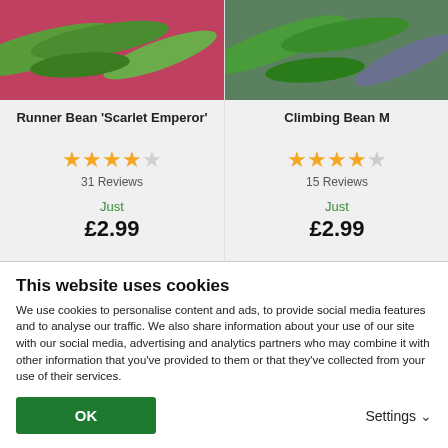[Figure (photo): Photo of Runner Bean 'Scarlet Emperor' seeds/pods on pink background]
Runner Bean 'Scarlet Emperor'
[Figure (illustration): Star rating: 4 out of 5 stars, 31 Reviews]
Just
£2.99
[Figure (photo): Photo of Climbing Bean M seeds/pods on purple/green background]
Climbing Bean M
[Figure (illustration): Star rating: 4.5 out of 5 stars, 15 Reviews]
Just
£2.99
This website uses cookies
We use cookies to personalise content and ads, to provide social media features and to analyse our traffic. We also share information about your use of our site with our social media, advertising and analytics partners who may combine it with other information that you've provided to them or that they've collected from your use of their services.
OK
Settings